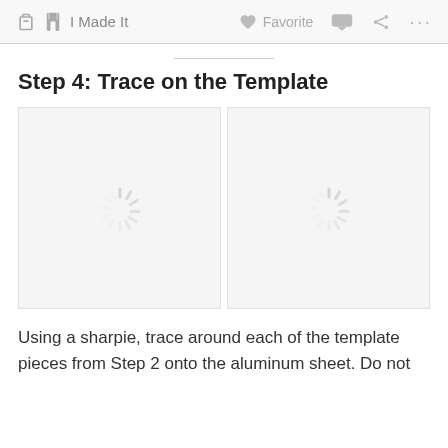I Made It   Favorite
Step 4: Trace on the Template
[Figure (photo): Two image placeholders side by side showing loading spinner icons, indicating images are not yet loaded]
Using a sharpie, trace around each of the template pieces from Step 2 onto the aluminum sheet.  Do not